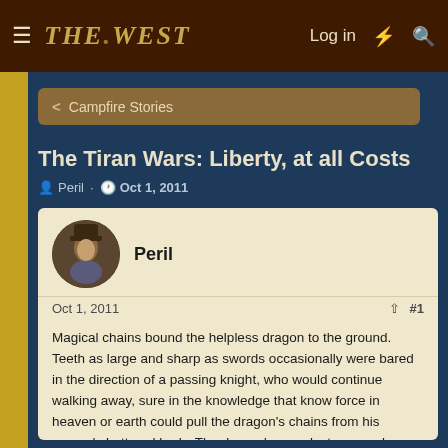The West — Log in
Campfire Stories
The Tiran Wars: Liberty, at all Costs
Peril · Oct 1, 2011
Peril
Oct 1, 2011  #1
Magical chains bound the helpless dragon to the ground. Teeth as large and sharp as swords occasionally were bared in the direction of a passing knight, who would continue walking away, sure in the knowledge that know force in heaven or earth could pull the dragon's chains from his severely battered body. The dragon's once lustrous scales now gleamed dully, unhealthily, in the light of the great fire pit that roasted wild pig and pheasant for the knights guarding their latest prize. Signs of the dragon's